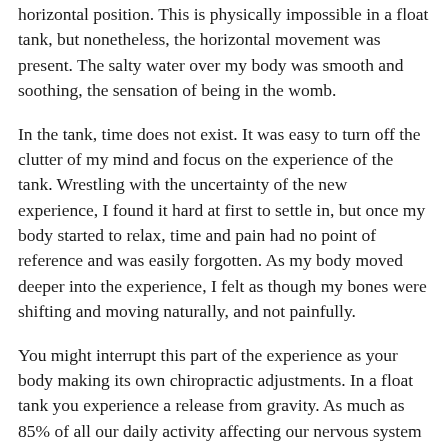horizontal position. This is physically impossible in a float tank, but nonetheless, the horizontal movement was present. The salty water over my body was smooth and soothing, the sensation of being in the womb.
In the tank, time does not exist. It was easy to turn off the clutter of my mind and focus on the experience of the tank. Wrestling with the uncertainty of the new experience, I found it hard at first to settle in, but once my body started to relax, time and pain had no point of reference and was easily forgotten. As my body moved deeper into the experience, I felt as though my bones were shifting and moving naturally, and not painfully.
You might interrupt this part of the experience as your body making its own chiropractic adjustments. In a float tank you experience a release from gravity. As much as 85% of all our daily activity affecting our nervous system is related to gravity. When this is released, the body experiences a feeling of weightlessness and pain disappears.
Another benefit of floating is its ability to reduce swelling. A few summers back, I broke my leg and had experienced